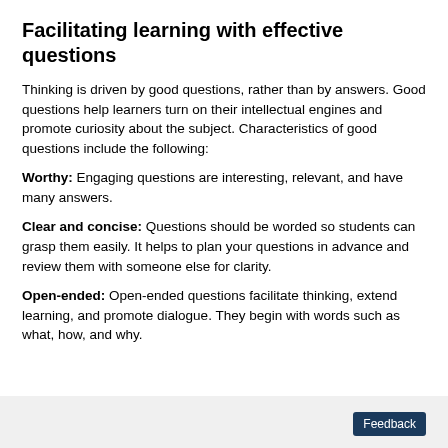Facilitating learning with effective questions
Thinking is driven by good questions, rather than by answers. Good questions help learners turn on their intellectual engines and promote curiosity about the subject. Characteristics of good questions include the following:
Worthy: Engaging questions are interesting, relevant, and have many answers.
Clear and concise: Questions should be worded so students can grasp them easily. It helps to plan your questions in advance and review them with someone else for clarity.
Open-ended: Open-ended questions facilitate thinking, extend learning, and promote dialogue. They begin with words such as what, how, and why.